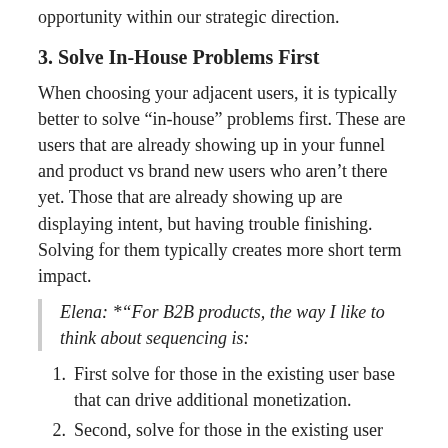validation that the 2nd account was an additive opportunity within our strategic direction.
3. Solve In-House Problems First
When choosing your adjacent users, it is typically better to solve “in-house” problems first. These are users that are already showing up in your funnel and product vs brand new users who aren’t there yet. Those that are already showing up are displaying intent, but having trouble finishing. Solving for them typically creates more short term impact.
Elena: *“For B2B products, the way I like to think about sequencing is:
First solve for those in the existing user base that can drive additional monetization.
Second, solve for those in the existing user base